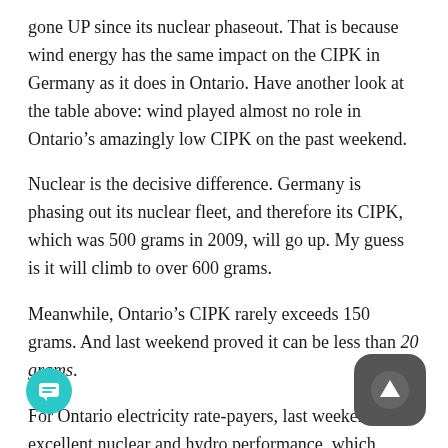gone UP since its nuclear phaseout. That is because wind energy has the same impact on the CIPK in Germany as it does in Ontario. Have another look at the table above: wind played almost no role in Ontario's amazingly low CIPK on the past weekend.
Nuclear is the decisive difference. Germany is phasing out its nuclear fleet, and therefore its CIPK, which was 500 grams in 2009, will go up. My guess is it will climb to over 600 grams.
Meanwhile, Ontario's CIPK rarely exceeds 150 grams. And last weekend proved it can be less than 20 grams.
For Ontario electricity rate-payers, last weekend's excellent nuclear and hydro performance, which coincided with wind going AWOL, was very good financial news. Nuclear and hydro are two of the least expensive generating sources; wind is among the most expensive. It was our pure luck that wind